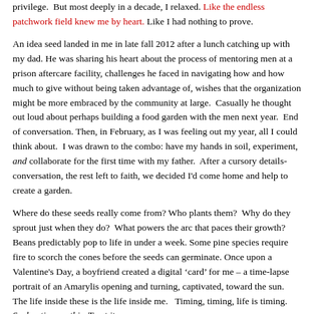privilege.  But most deeply in a decade, I relaxed. Like the endless patchwork field knew me by heart. Like I had nothing to prove.
An idea seed landed in me in late fall 2012 after a lunch catching up with my dad. He was sharing his heart about the process of mentoring men at a prison aftercare facility, challenges he faced in navigating how and how much to give without being taken advantage of, wishes that the organization might be more embraced by the community at large.  Casually he thought out loud about perhaps building a food garden with the men next year.  End of conversation. Then, in February, as I was feeling out my year, it was all I could think about.  I was drawn to the combo: have my hands in soil, experiment, and collaborate for the first time with my father.  After a cursory details-conversation with the rest left to faith, we decided I'd come home and help to create a garden.
Where do these seeds really come from? Who plants them?  Why do they sprout just when they do?  What powers the arc that paces their growth? Beans predictably pop to life in under a week. Some pine species require fire to scorch the cones before their seeds can germinate. Once upon a Valentine's Day, a boyfriend created a digital 'card' for me – a time-lapse portrait of an Amarylis opening and turning, captivated, toward the sun.  The life inside these is the life inside me.   Timing, timing, life is timing. Such a time as this. Trust it.
One of my sticky shadow patterns:  I often feel so behind.  In my voraciousness to do, my life up to now would have taken a more elegant, streamlined trajectory I could lay out. I would've been ready for important teachings earlier. That I would be as much of a force, learning curve and concomitant hesitation to commit.